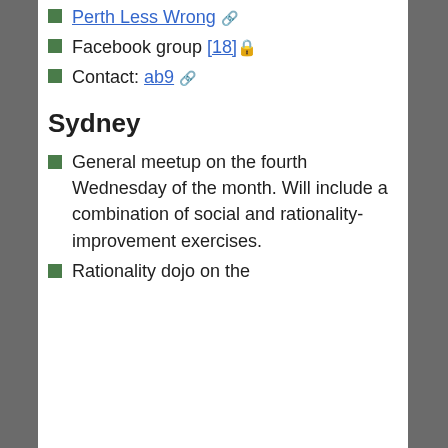Perth Less Wrong [external link]
Facebook group [18] [locked]
Contact: ab9 [external link]
Sydney
General meetup on the fourth Wednesday of the month. Will include a combination of social and rationality-improvement exercises.
Rationality dojo on the